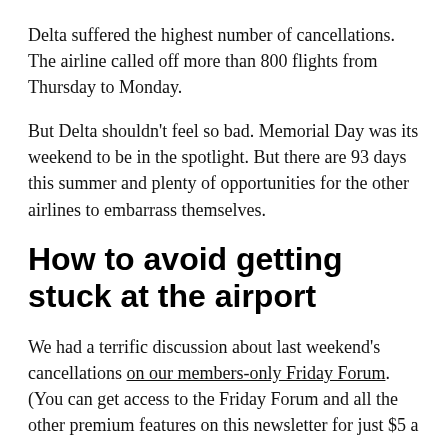Delta suffered the highest number of cancellations. The airline called off more than 800 flights from Thursday to Monday.
But Delta shouldn't feel so bad. Memorial Day was its weekend to be in the spotlight. But there are 93 days this summer and plenty of opportunities for the other airlines to embarrass themselves.
How to avoid getting stuck at the airport
We had a terrific discussion about last weekend's cancellations on our members-only Friday Forum. (You can get access to the Friday Forum and all the other premium features on this newsletter for just $5 a